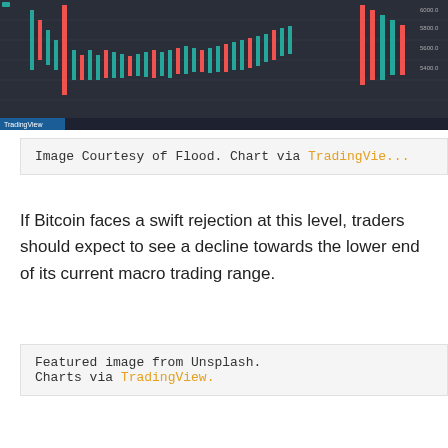[Figure (screenshot): TradingView Bitcoin price chart screenshot showing candlestick chart on dark background]
Image Courtesy of Flood. Chart via TradingView.
If Bitcoin faces a swift rejection at this level, traders should expect to see a decline towards the lower end of its current macro trading range.
Featured image from Unsplash.
Charts via TradingView.
[Figure (infographic): Social media share buttons: Facebook, Twitter, Google+, Pinterest, WhatsApp]